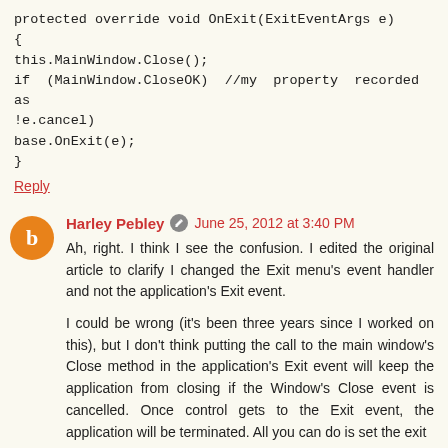protected override void OnExit(ExitEventArgs e)
{
this.MainWindow.Close();
if (MainWindow.CloseOK) //my property recorded as !e.cancel)
base.OnExit(e);
}
Reply
Harley Pebley  June 25, 2012 at 3:40 PM
Ah, right. I think I see the confusion. I edited the original article to clarify I changed the Exit menu's event handler and not the application's Exit event.
I could be wrong (it's been three years since I worked on this), but I don't think putting the call to the main window's Close method in the application's Exit event will keep the application from closing if the Window's Close event is cancelled. Once control gets to the Exit event, the application will be terminated. All you can do is set the exit